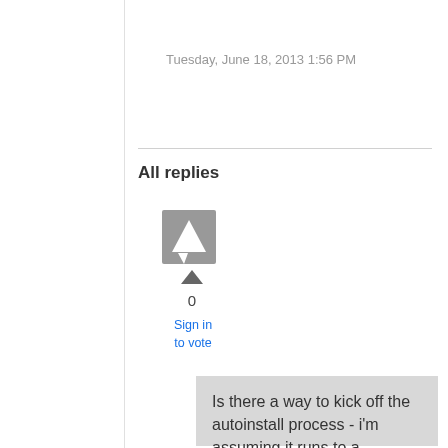Tuesday, June 18, 2013 1:56 PM
All replies
[Figure (illustration): User avatar icon: grey square with white speech bubble/chat icon]
0
Sign in to vote
Is there a way to kick off the autoinstall process - i'm assuming it runs to a schedule someplace?